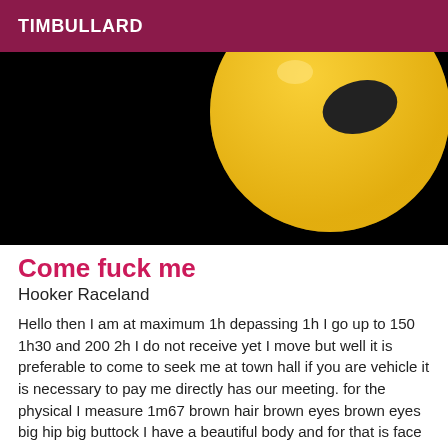TIMBULLARD
[Figure (photo): Emoji face (winking/smiling yellow emoji) on a black background, cropped so only top portion of emoji is visible]
Come fuck me
Hooker Raceland
Hello then I am at maximum 1h depassing 1h I go up to 150 1h30 and 200 2h I do not receive yet I move but well it is preferable to come to seek me at town hall if you are vehicle it is necessary to pay me directly has our meeting. for the physical I measure 1m67 brown hair brown eyes brown eyes big hip big buttock I have a beautiful body and for that is face and presentation I go